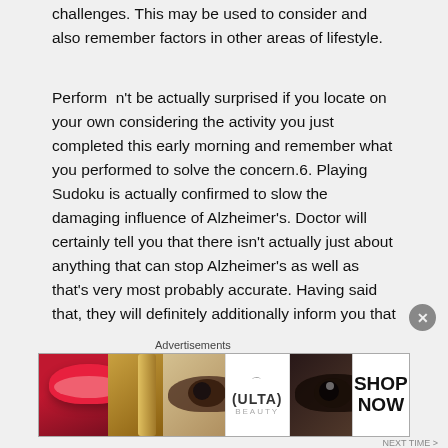challenges. This may be used to consider and also remember factors in other areas of lifestyle.
Perform n't be actually surprised if you locate on your own considering the activity you just completed this early morning and remember what you performed to solve the concern.6. Playing Sudoku is actually confirmed to slow the damaging influence of Alzheimer's. Doctor will certainly tell you that there isn't actually just about anything that can stop Alzheimer's as well as that's very most probably accurate. Having said that, they will definitely additionally inform you that there are actually particular things that an individual may do to decelerate the procedure of amnesia, which is what Alzheimer's illness is actually all about. What decreases down Alzheimer's amnesia? Always keeping blood stream pressure regulated, regular physical exercise, memory
[Figure (photo): Advertisements banner for ULTA beauty products showing lips, makeup brush, eye, ULTA logo, eye closeup, and SHOP NOW text]